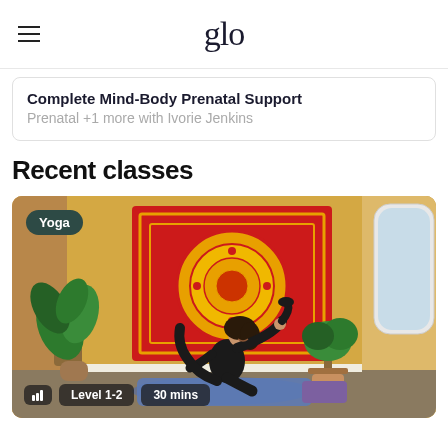glo
Complete Mind-Body Prenatal Support
Prenatal +1 more with Ivorie Jenkins
Recent classes
[Figure (photo): Yoga class thumbnail showing a woman performing a yoga pose in front of a red and yellow mandala tapestry on a yellow wall, with plants on either side. She is on a blue yoga mat in a room with warm lighting. Badge overlays: 'Yoga' in top left, 'Level 1-2' and '30 mins' in bottom left.]